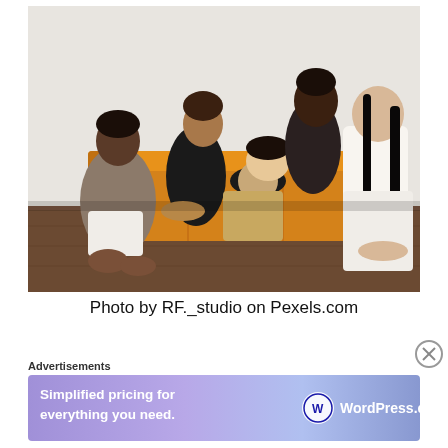[Figure (photo): A group photo of five women posed together on and around an orange/mustard colored sofa against a white wall with dark wood floor. The women are dressed in various casual outfits including grey, white, black and neutral tones. Some sit on the sofa while others lean on it or sit on the floor.]
Photo by RF._studio on Pexels.com
Advertisements
[Figure (infographic): WordPress.com advertisement banner with gradient purple-blue background. Left side reads 'Simplified pricing for everything you need.' Right side shows WordPress.com logo with circle W icon.]